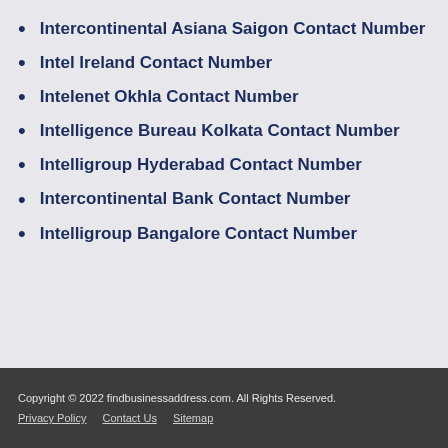Intercontinental Asiana Saigon Contact Number
Intel Ireland Contact Number
Intelenet Okhla Contact Number
Intelligence Bureau Kolkata Contact Number
Intelligroup Hyderabad Contact Number
Intercontinental Bank Contact Number
Intelligroup Bangalore Contact Number
Copyright © 2022 findbusinessaddress.com. All Rights Reserved.
Privacy Policy   Contact Us   Sitemap